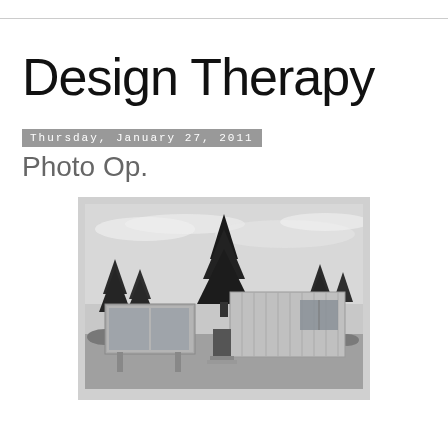Design Therapy
Thursday, January 27, 2011
Photo Op.
[Figure (photo): Black and white photograph of a mid-century modern house with large glass windows and metal siding, surrounded by tall trees and a cloudy sky.]